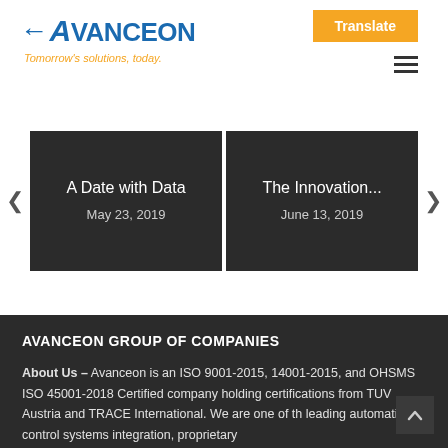[Figure (logo): Avanceon logo with blue text and orange tagline 'Tomorrow's solutions, today.']
Translate
A Date with Data
May 23, 2019
The Innovation...
June 13, 2019
AVANCEON GROUP OF COMPANIES
About Us – Avanceon is an ISO 9001-2015, 14001-2015, and OHSMS ISO 45001-2018 Certified company holding certifications from TUV Austria and TRACE International. We are one of the leading automation, control systems integration, proprietary